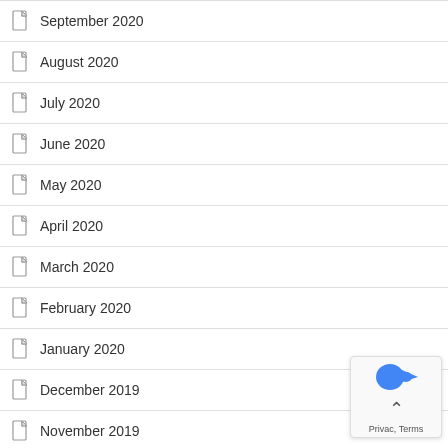September 2020
August 2020
July 2020
June 2020
May 2020
April 2020
March 2020
February 2020
January 2020
December 2019
November 2019
October 2019
September 2019
August 2019